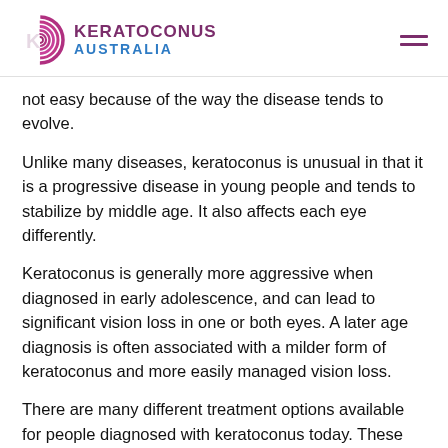KERATOCONUS AUSTRALIA
not easy because of the way the disease tends to evolve.
Unlike many diseases, keratoconus is unusual in that it is a progressive disease in young people and tends to stabilize by middle age. It also affects each eye differently.
Keratoconus is generally more aggressive when diagnosed in early adolescence, and can lead to significant vision loss in one or both eyes. A later age diagnosis is often associated with a milder form of keratoconus and more easily managed vision loss.
There are many different treatment options available for people diagnosed with keratoconus today. These are often categorised in the earliest stages of the…